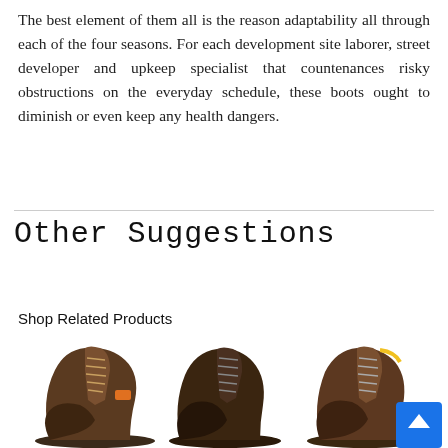The best element of them all is the reason adaptability all through each of the four seasons. For each development site laborer, street developer and upkeep specialist that countenances risky obstructions on the everyday schedule, these boots ought to diminish or even keep any health dangers.
Other Suggestions
Shop Related Products
[Figure (photo): Three brown work/hiking boots displayed side by side with a blue scroll-to-top button in the bottom right corner.]